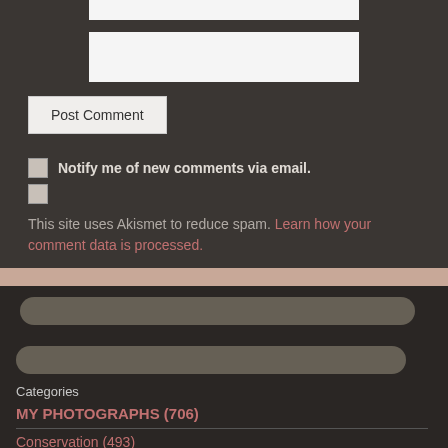[Figure (screenshot): Input field (text box, top of form)]
[Figure (screenshot): Wider input field (website URL or comment field)]
Post Comment
Notify me of new comments via email.
This site uses Akismet to reduce spam. Learn how your comment data is processed.
[Figure (screenshot): Search bar (middle section)]
Categories
MY PHOTOGRAPHS (706)
Conservation (493)